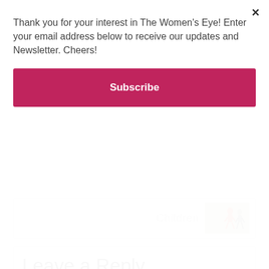Thank you for your interest in The Women's Eye! Enter your email address below to receive our updates and Newsletter. Cheers!
Subscribe
Children
Leave a Reply
Your email address will not be published. Required fields are marked *
Comment *